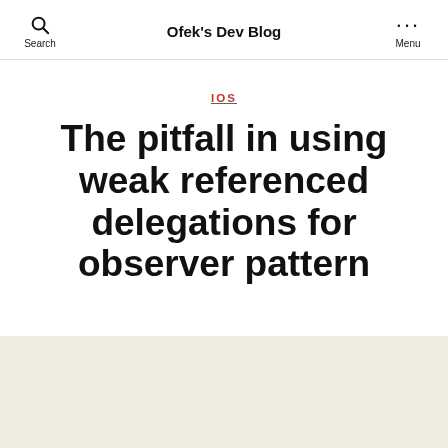Ofek's Dev Blog
IOS
The pitfall in using weak referenced delegations for observer pattern
By Ofek  July 14, 2021  No Comments